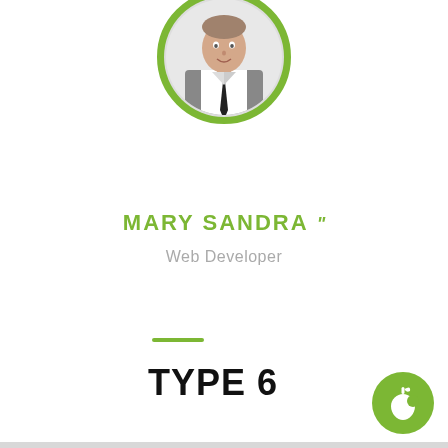[Figure (photo): Circular profile photo of a man in a white shirt and tie, with a green circular border]
MARY SANDRA
Web Developer
TYPE 6
[Figure (logo): Green circular button with a white apple icon in the bottom right corner]